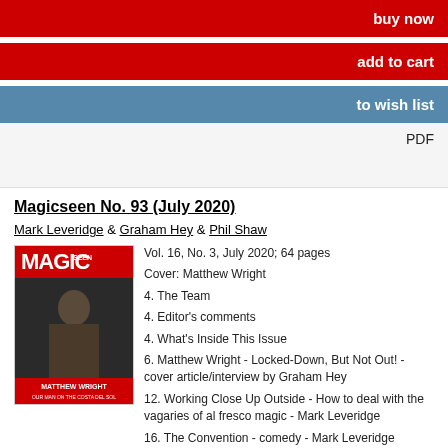buy now
add to cart
to wish list
PDF
Magicseen No. 93 (July 2020)
Mark Leveridge & Graham Hey & Phil Shaw
[Figure (photo): Cover of Magicseen magazine No. 93, July 2020 featuring Matthew Wright, with red MAGIC logo and text 'Matthew Wright: Our Man on the Costa Del Sol']
Vol. 16, No. 3, July 2020; 64 pages
Cover: Matthew Wright

4. The Team
4. Editor's comments
4. What's Inside This Issue
6. Matthew Wright - Locked-Down, But Not Out! - cover article/interview by Graham Hey
12. Working Close Up Outside - How to deal with the vagaries of al fresco magic - Mark Leveridge
16. The Convention - comedy - Mark Leveridge
18. A Little Bit of Business - Part Two - Ian Brennan, AIMC